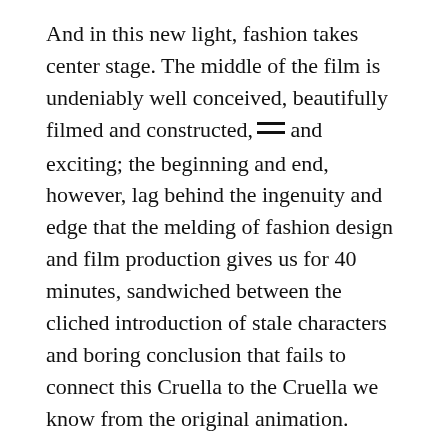And in this new light, fashion takes center stage. The middle of the film is undeniably well conceived, beautifully filmed and constructed, and exciting; the beginning and end, however, lag behind the ingenuity and edge that the melding of fashion design and film production gives us for 40 minutes, sandwiched between the cliched introduction of stale characters and boring conclusion that fails to connect this Cruella to the Cruella we know from the original animation.
Emma Thompson as the Baroness is fantastic as always, and Stone is fine as Cruella, but no one else aside from John McCrea stands out. Mark Strong is also solid, but his role is so small that he isn't able to add anything to the movie. The fashion, dogs, and plot overshadow the